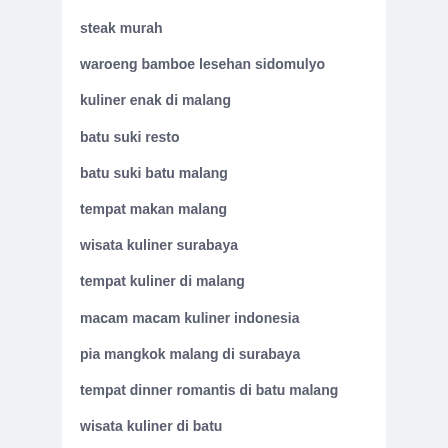steak murah
waroeng bamboe lesehan sidomulyo
kuliner enak di malang
batu suki resto
batu suki batu malang
tempat makan malang
wisata kuliner surabaya
tempat kuliner di malang
macam macam kuliner indonesia
pia mangkok malang di surabaya
tempat dinner romantis di batu malang
wisata kuliner di batu